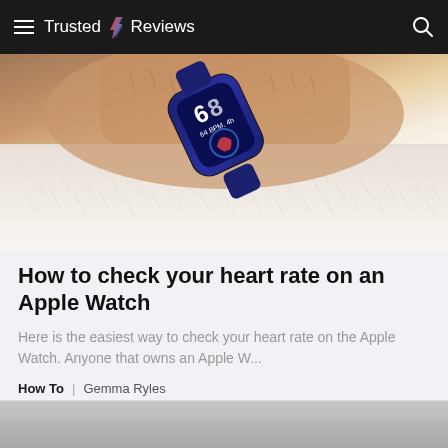Trusted Reviews
[Figure (photo): Close-up photo of a dark blue Apple Watch on a wrist showing 64 BPM heart rate reading, resting on a fluffy white surface]
How to check your heart rate on an Apple Watch
Here is the easiest way to check your heart rate on the Apple Watch. Anyone that owns an Apple W...
How To | Gemma Ryles
[Figure (photo): Partial view of another article's hero image at the bottom of the page]